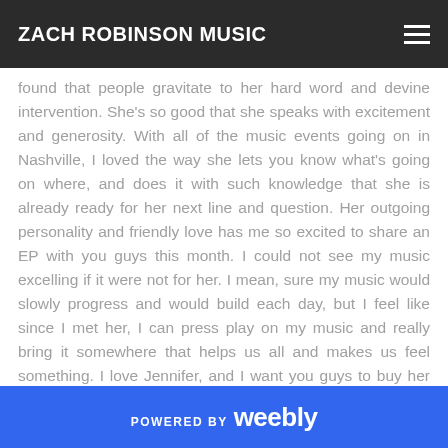ZACH ROBINSON MUSIC
found that people gravitate to her hard word and devine intervention. She's so good that she speaks with excitement and generosity. With all of the music events going on in Nashville, I loved the way she lets you know what's going on where, and does it with such knowledge that she is already ready for her next line and question. Her outgoing personality and friendly love has me so excited to share an EP with you guys this month. I could not see my music excelling if it were not for her. I mean, sure my music would slowly progress and would build each day, but I feel like since I met her, I can press play on my music and really bring it somewhere that helps us all and makes us feel something. I love Jennifer, and I want you guys to buy her music and support her music career. There is a bookstore here in Bangor that would
POWERED BY weebly